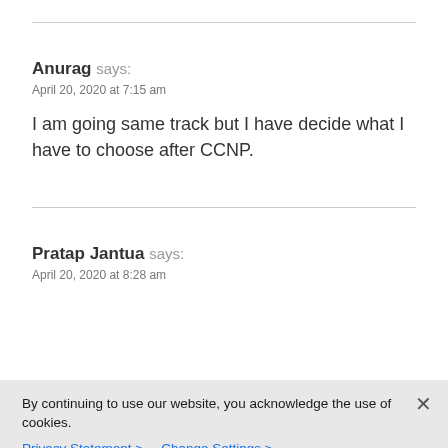Anurag says:
April 20, 2020 at 7:15 am
I am going same track but I have decide what I have to choose after CCNP.
Pratap Jantua says:
April 20, 2020 at 8:28 am
By continuing to use our website, you acknowledge the use of cookies.
Privacy Statement > Change Settings >